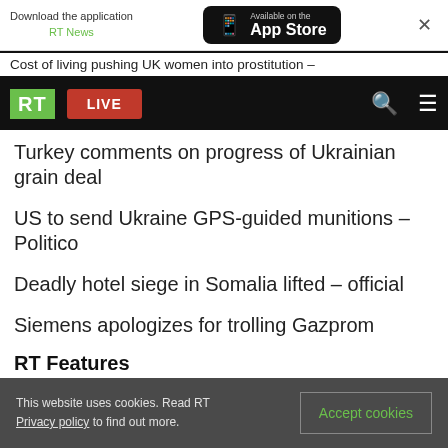[Figure (screenshot): App Store download banner with RT News label and Available on the App Store button]
Cost of living pushing UK women into prostitution –
[Figure (screenshot): RT navigation bar with green RT logo, red LIVE button, search icon, and hamburger menu]
Turkey comments on progress of Ukrainian grain deal
US to send Ukraine GPS-guided munitions – Politico
Deadly hotel siege in Somalia lifted – official
Siemens apologizes for trolling Gazprom
RT Features
This website uses cookies. Read RT Privacy policy to find out more. [Accept cookies button]